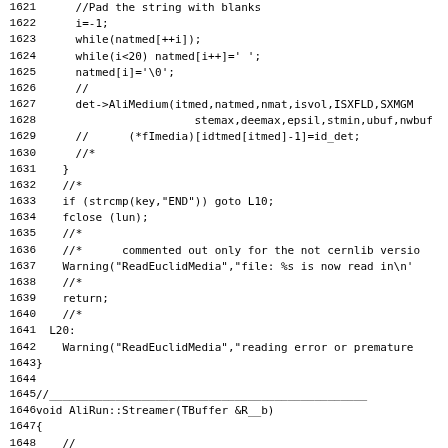Code listing lines 1621-1652+, showing C++ source code for AliRun ReadEuclidMedia and Streamer functions